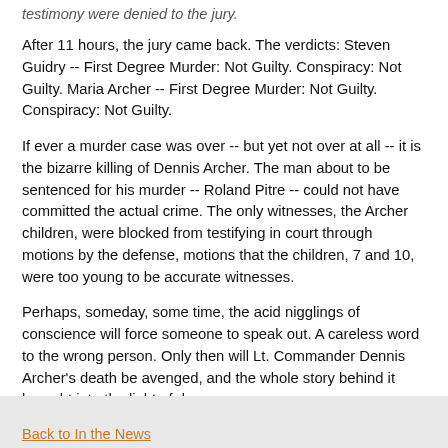testimony were denied to the jury.
After 11 hours, the jury came back. The verdicts: Steven Guidry -- First Degree Murder: Not Guilty. Conspiracy: Not Guilty. Maria Archer -- First Degree Murder: Not Guilty. Conspiracy: Not Guilty.
If ever a murder case was over -- but yet not over at all -- it is the bizarre killing of Dennis Archer. The man about to be sentenced for his murder -- Roland Pitre -- could not have committed the actual crime. The only witnesses, the Archer children, were blocked from testifying in court through motions by the defense, motions that the children, 7 and 10, were too young to be accurate witnesses.
Perhaps, someday, some time, the acid nigglings of conscience will force someone to speak out. A careless word to the wrong person. Only then will Lt. Commander Dennis Archer's death be avenged, and the whole story behind it brought into the light of day.
Back to In the News